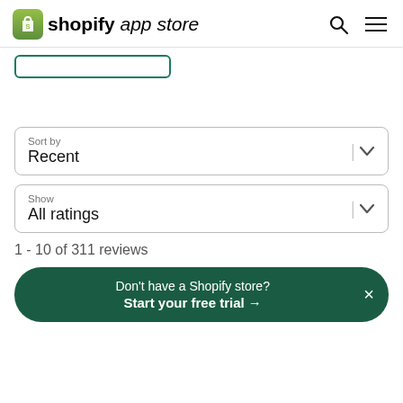shopify app store
[Figure (screenshot): Partially visible teal/green bordered button stub at top of content area]
Sort by
Recent
Show
All ratings
1 - 10 of 311 reviews
Don't have a Shopify store? Start your free trial →